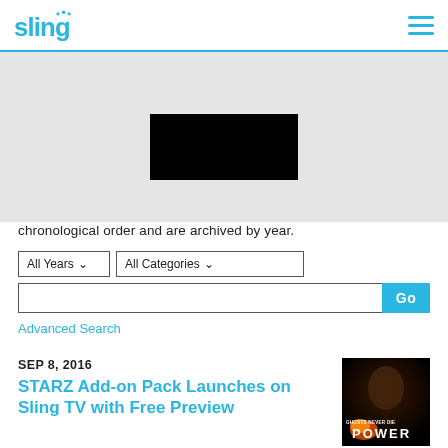sling
[Figure (other): Dark rectangular banner image, partially obscured/redacted with black rectangle]
chronological order and are archived by year.
[Figure (other): Search interface with All Years dropdown, All Categories dropdown, text input field, Go button, and Advanced Search link]
Advanced Search
SEP 8, 2016
STARZ Add-on Pack Launches on Sling TV with Free Preview
[Figure (photo): Promotional image for Power TV show on STARZ - person's face with text POWER and GHOSTS NEVER DIE]